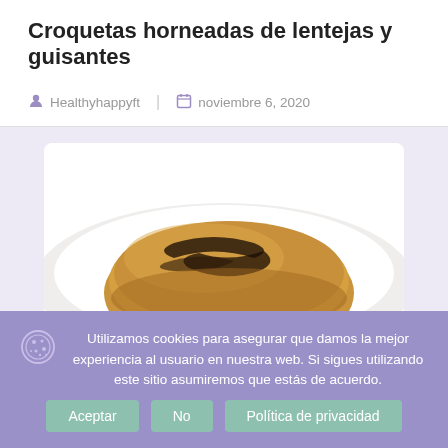Croquetas horneadas de lentejas y guisantes
Healthyhappyft   |   noviembre 6, 2020
[Figure (photo): A baked lentil and pea croquette on a white plate, golden brown with grill marks on top]
Utilizamos cookies para asegurar que damos la mejor experiencia al usuario en nuestra web. Si sigues utilizando este sitio asumiremos que estás de acuerdo.
Aceptar   No   Política de privacidad